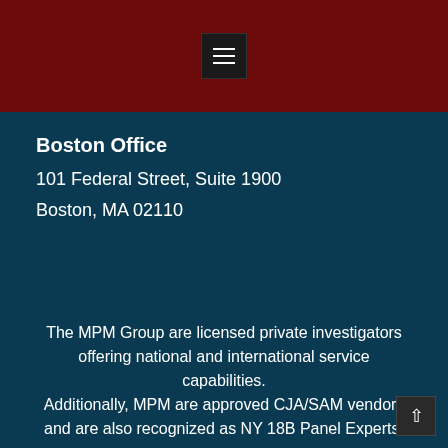[Figure (screenshot): Dark red header bar with a hamburger menu icon (three horizontal white lines on a dark square button) centered in the bar]
Boston Office
101 Federal Street, Suite 1900
Boston, MA 02110
The MPM Group are licensed private investigators offering national and international service capabilities.
Additionally, MPM are approved CJA/SAM vendors and are also recognized as NY 18B Panel Experts.